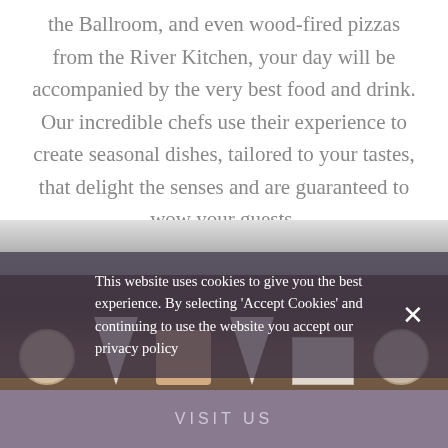the Ballroom, and even wood-fired pizzas from the River Kitchen, your day will be accompanied by the very best food and drink. Our incredible chefs use their experience to create seasonal dishes, tailored to your tastes, that delight the senses and are guaranteed to wow your guests.
[Figure (photo): Photo of food items including pizza cones, wrapped foods, and boxes on a wooden surface, partially obscured by a cookie consent overlay banner and a dark semi-transparent overlay.]
This website uses cookies to give you the best experience. By selecting 'Accept Cookies' and continuing to use the website you accept our privacy policy
VISIT US